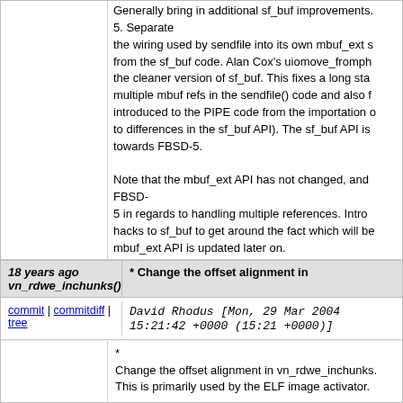Generally bring in additional sf_buf improvements. 5.  Separate the wiring used by sendfile into its own mbuf_ext s from the sf_buf code.  Alan Cox's uiomove_fromph the cleaner version of sf_buf.  This fixes a long sta multiple mbuf refs in the sendfile() code and also f introduced to the PIPE code from the importation o to differences in the sf_buf API).  The sf_buf API is towards FBSD-5.

Note that the mbuf_ext API has not changed, and FBSD- 5 in regards to handling multiple references.  Intro hacks to sf_buf to get around the fact which will be mbuf_ext API is updated later on.
18 years ago vn_rdwe_inchunks() * Change the offset alignment in
commit | commitdiff | tree   David Rhodus [Mon, 29 Mar 2004 15:21:42 +0000 (15:21 +0000)]
*
Change the offset alignment in vn_rdwe_inchunks. This is primarily used by the ELF image activator.

FreeBSD src repository

Modified files:
  sys/kern        vfs_vnops.c